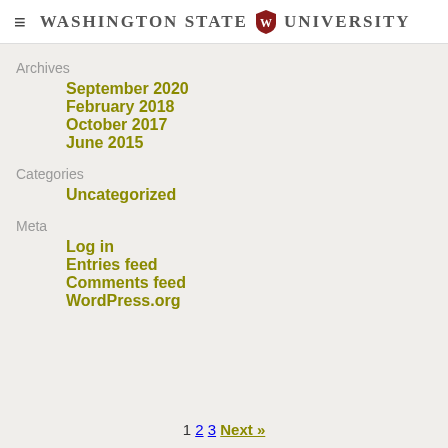Washington State University
Archives
September 2020
February 2018
October 2017
June 2015
Categories
Uncategorized
Meta
Log in
Entries feed
Comments feed
WordPress.org
1 2 3 Next »